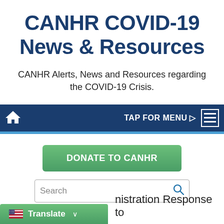CANHR COVID-19 News & Resources
CANHR Alerts, News and Resources regarding the COVID-19 Crisis.
[Figure (screenshot): Navigation bar with home icon, TAP FOR MENU text and hamburger menu icon on dark navy background]
[Figure (screenshot): DONATE TO CANHR green button]
[Figure (screenshot): Search box with Search placeholder text and blue search icon]
[Figure (screenshot): Translate button with US flag icon and dropdown arrow, and partial text 'nistration Response to']